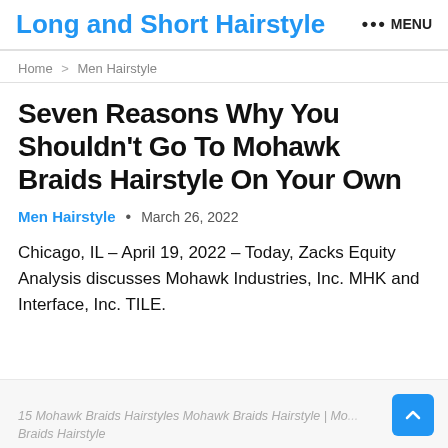Long and Short Hairstyle ••• MENU
Home > Men Hairstyle
Seven Reasons Why You Shouldn't Go To Mohawk Braids Hairstyle On Your Own
Men Hairstyle · March 26, 2022
Chicago, IL – April 19, 2022 – Today, Zacks Equity Analysis discusses Mohawk Industries, Inc. MHK and Interface, Inc. TILE.
15 Mohawk Braids Hairstyles Mohawk Braids Hairstyle | Mohawk Braids Hairstyle